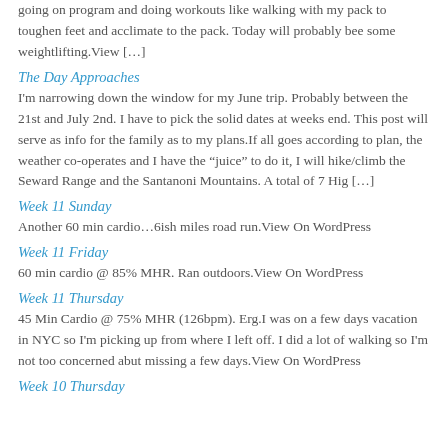going on program and doing workouts like walking with my pack to toughen feet and acclimate to the pack. Today will probably bee some weightlifting.View […]
The Day Approaches
I'm narrowing down the window for my June trip. Probably between the 21st and July 2nd. I have to pick the solid dates at weeks end. This post will serve as info for the family as to my plans.If all goes according to plan, the weather co-operates and I have the "juice" to do it, I will hike/climb the Seward Range and the Santanoni Mountains. A total of 7 Hig […]
Week 11 Sunday
Another 60 min cardio…6ish miles road run.View On WordPress
Week 11 Friday
60 min cardio @ 85% MHR. Ran outdoors.View On WordPress
Week 11 Thursday
45 Min Cardio @ 75% MHR (126bpm). Erg.I was on a few days vacation in NYC so I'm picking up from where I left off. I did a lot of walking so I'm not too concerned abut missing a few days.View On WordPress
Week 10 Thursday